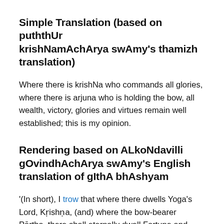Simple Translation (based on puththUr krishNamAchArya swAmy's thamizh translation)
Where there is krishNa who commands all glories, where there is arjuna who is holding the bow, all wealth, victory, glories and virtues remain well established; this is my opinion.
Rendering based on ALkoNdavilli gOvindhAchArya swAmy's English translation of gIthA bhAshyam
'(In short), I trow that where there dwells Yoga's Lord, Kṛishṇa, (and) where the bow-bearer Pārtha, there shall eternally dwell Fortune and Victory, Power, and